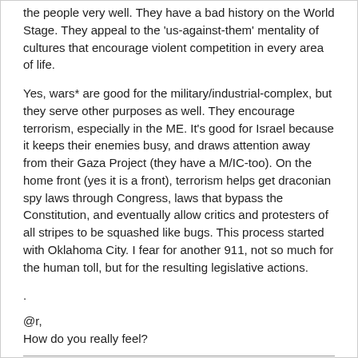the people very well. They have a bad history on the World Stage. They appeal to the 'us-against-them' mentality of cultures that encourage violent competition in every area of life.
Yes, wars* are good for the military/industrial-complex, but they serve other purposes as well. They encourage terrorism, especially in the ME. It's good for Israel because it keeps their enemies busy, and draws attention away from their Gaza Project (they have a M/IC-too). On the home front (yes it is a front), terrorism helps get draconian spy laws through Congress, laws that bypass the Constitution, and eventually allow critics and protesters of all stripes to be squashed like bugs. This process started with Oklahoma City. I fear for another 911, not so much for the human toll, but for the resulting legislative actions.
.
@r,
How do you really feel?
*the continuous state of war we have been in apparently doesn't make much difference to Pinker.